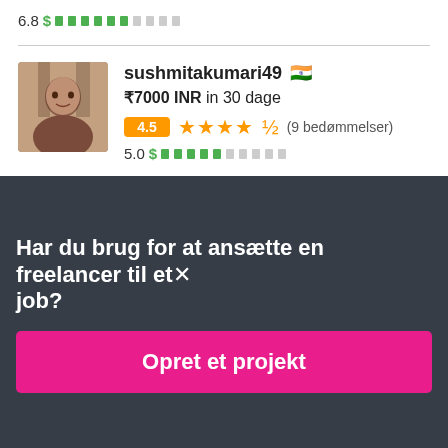6.8  $ ████████░░░  (rating bar)
[Figure (screenshot): Profile photo of sushmitakumari49 — woman with dark hair]
sushmitakumari49 🇮🇳
₹7000 INR in 30 dage
4.5 ★★★★½ (9 bedømmelser)
5.0 $ ████░░░░░░
Har du brug for at ansætte en freelancer til et job?
Opret et projekt